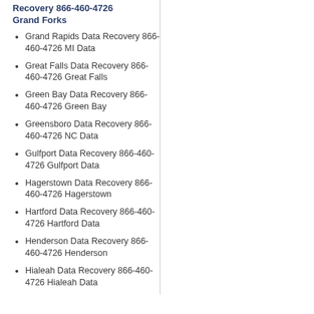Recovery 866-460-4726 Grand Forks
Grand Rapids Data Recovery 866-460-4726 MI Data
Great Falls Data Recovery 866-460-4726 Great Falls
Green Bay Data Recovery 866-460-4726 Green Bay
Greensboro Data Recovery 866-460-4726 NC Data
Gulfport Data Recovery 866-460-4726 Gulfport Data
Hagerstown Data Recovery 866-460-4726 Hagerstown
Hartford Data Recovery 866-460-4726 Hartford Data
Henderson Data Recovery 866-460-4726 Henderson
Hialeah Data Recovery 866-460-4726 Hialeah Data